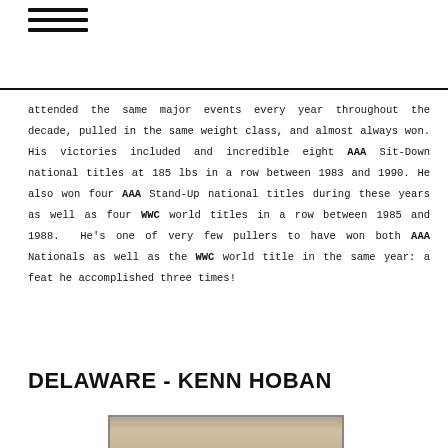≡
attended the same major events every year throughout the decade, pulled in the same weight class, and almost always won. His victories included and incredible eight AAA Sit-Down national titles at 185 lbs in a row between 1983 and 1990. He also won four AAA Stand-Up national titles during these years as well as four WWC world titles in a row between 1985 and 1988.  He's one of very few pullers to have won both AAA Nationals as well as the WWC world title in the same year: a feat he accomplished three times!
DELAWARE - KENN HOBAN
[Figure (photo): Historical photograph of Kenn Hoban, partially visible at bottom of page]